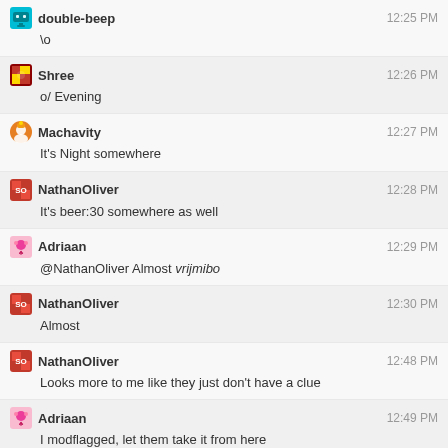double-beep 12:25 PM
\o
Shree 12:26 PM
o/ Evening
Machavity 12:27 PM
It's Night somewhere
NathanOliver 12:28 PM
It's beer:30 somewhere as well
Adriaan 12:29 PM
@NathanOliver Almost vrijmibo
NathanOliver 12:30 PM
Almost
NathanOliver 12:48 PM
Looks more to me like they just don't have a clue
Adriaan 12:49 PM
I modflagged, let them take it from here
NathanOliver 1:47 PM
→ 11 messages moved to SOCVR Request Graveyard